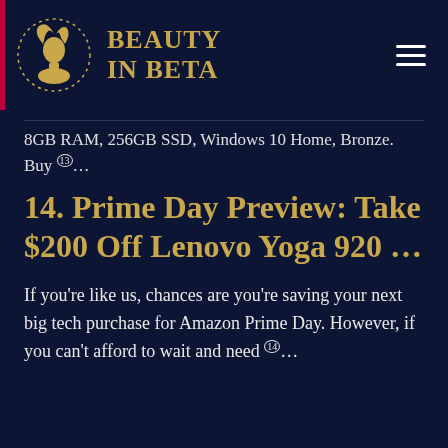Beauty in Beta
8GB RAM, 256GB SSD, Windows 10 Home, Bronze. Buy (13)...
14. Prime Day Preview: Take $200 Off Lenovo Yoga 920 ...
If you’re like us, chances are you’re saving your next big tech purchase for Amazon Prime Day. However, if you can’t afford to wait and need (14)...